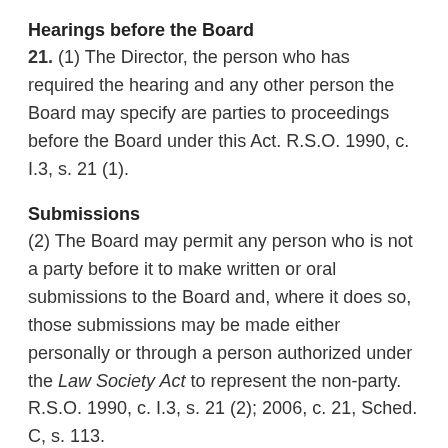Hearings before the Board
21. (1) The Director, the person who has required the hearing and any other person the Board may specify are parties to proceedings before the Board under this Act. R.S.O. 1990, c. I.3, s. 21 (1).
Submissions
(2) The Board may permit any person who is not a party before it to make written or oral submissions to the Board and, where it does so, those submissions may be made either personally or through a person authorized under the Law Society Act to represent the non-party. R.S.O. 1990, c. I.3, s. 21 (2); 2006, c. 21, Sched. C, s. 113.